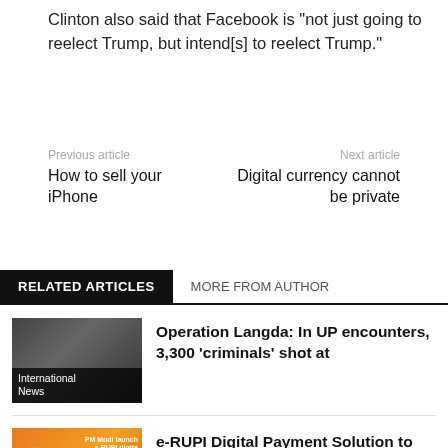Clinton also said that Facebook is “not just going to reelect Trump, but intend[s] to reelect Trump.”
Previous article
How to sell your iPhone
Next article
Digital currency cannot be private
RELATED ARTICLES   MORE FROM AUTHOR
Operation Langda: In UP encounters, 3,300 ‘criminals’ shot at
e-RUPI Digital Payment Solution to Be Launched Today by PM Narendra Modi